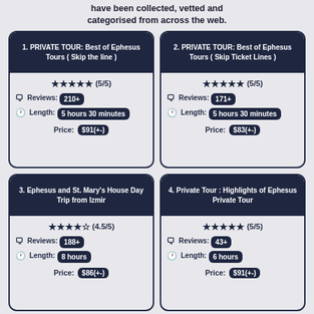have been collected, vetted and categorised from across the web.
1. PRIVATE TOUR: Best of Ephesus Tours ( Skip the line ) | Rating: 5/5 | Reviews: 210+ | Length: 5 hours 30 minutes | Price: $91(+-)
2. PRIVATE TOUR: Best of Ephesus Tours ( Skip Ticket Lines ) | Rating: 5/5 | Reviews: 171+ | Length: 5 hours 30 minutes | Price: $83(+-)
3. Ephesus and St. Mary's House Day Trip from Izmir | Rating: 4.5/5 | Reviews: 188+ | Length: 8 hours | Price: $86(+-)
4. Private Tour : Highlights of Ephesus Private Tour | Rating: 5/5 | Reviews: 43+ | Length: 6 hours | Price: $91(+-)